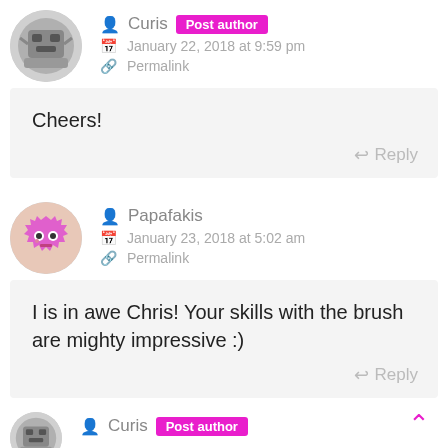Curis Post author — January 22, 2018 at 9:59 pm — Permalink
Cheers!
Reply
Papafakis — January 23, 2018 at 5:02 am — Permalink
I is in awe Chris! Your skills with the brush are mighty impressive :)
Reply
Curis Post author